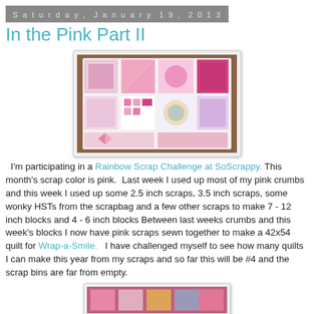Saturday, January 19, 2013
In the Pink Part II
[Figure (photo): A colorful pink-themed quilt laid out on a table, showing various pink and white quilt blocks arranged together.]
I'm participating in a Rainbow Scrap Challenge at SoScrappy. This month's scrap color is pink.  Last week I used up most of my pink crumbs and this week I used up some 2.5 inch scraps, 3.5 inch scraps, some wonky HSTs from the scrapbag and a few other scraps to make 7 - 12 inch blocks and 4 - 6 inch blocks Between last weeks crumbs and this week's blocks I now have pink scraps sewn together to make a 42x54 quilt for Wrap-a-Smile.   I have challenged myself to see how many quilts I can make this year from my scraps and so far this will be #4 and the scrap bins are far from empty.
[Figure (photo): Close-up of pink and colorful quilt blocks, partially visible at the bottom of the page.]